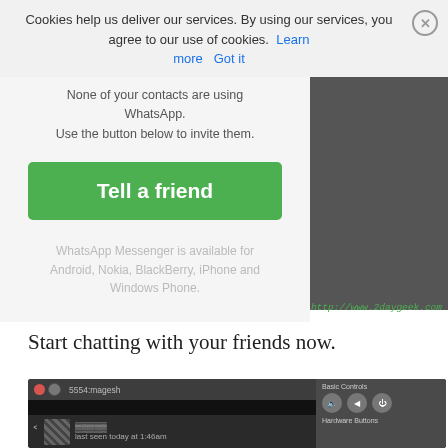Cookies help us deliver our services. By using our services, you agree to our use of cookies. Learn more Got it
[Figure (screenshot): WhatsApp 'Invite your friends' screen showing 'None of your contacts are using WhatsApp. Use the button below to invite them.' with a green 'Tell a friend' button, text about available platforms, and a dark gray sidebar panel with 2daygeek.com watermark.]
Start chatting with your friends now.
[Figure (screenshot): Android emulator screenshot showing WhatsApp contact list with titlebar '5554:magesh', status bar with time 6:21, and a contact row. Right side shows Basic Controls and Hardware Buttons panels.]